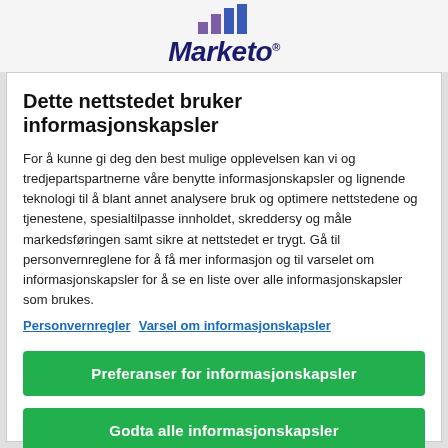[Figure (logo): Marketo logo with bar chart icon above and italic bold text 'Marketo' with registered trademark symbol]
Dette nettstedet bruker informasjonskapsler
For å kunne gi deg den best mulige opplevelsen kan vi og tredjepartspartnerne våre benytte informasjonskapsler og lignende teknologi til å blant annet analysere bruk og optimere nettstedene og tjenestene, spesialtilpasse innholdet, skreddersy og måle markedsføringen samt sikre at nettstedet er trygt. Gå til personvernreglene for å få mer informasjon og til varselet om informasjonskapsler for å se en liste over alle informasjonskapsler som brukes.
Personvernregler  Varsel om informasjonskapsler
Preferanser for informasjonskapsler
Godta alle informasjonskapsler